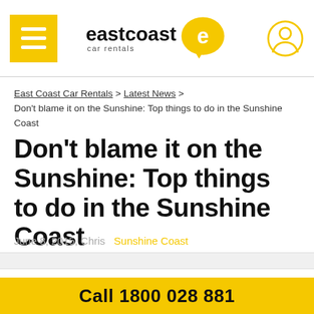east coast car rentals — hamburger menu, logo, user icon
East Coast Car Rentals > Latest News > Don't blame it on the Sunshine: Top things to do in the Sunshine Coast
Don't blame it on the Sunshine: Top things to do in the Sunshine Coast
June 8, 2015, Chris   Sunshine Coast
We just can't, we just can't, we just can't control our feet! Boogie along to the door of your rental car and check out all the good
Call 1800 028 881